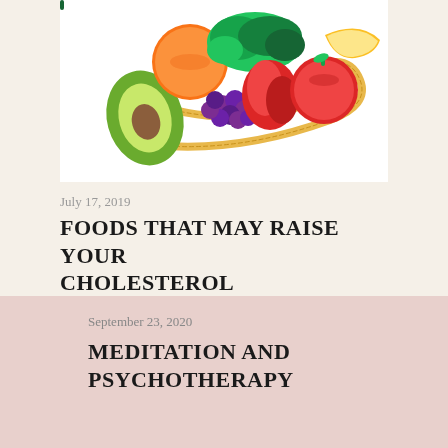[Figure (photo): Photo of assorted fruits and vegetables (orange, avocado, grapes, red peppers, tomatoes, greens, banana) arranged in a heart shape with a measuring tape on a white background]
July 17, 2019
FOODS THAT MAY RAISE YOUR CHOLESTEROL
Share   Post a Comment
September 23, 2020
MEDITATION AND PSYCHOTHERAPY